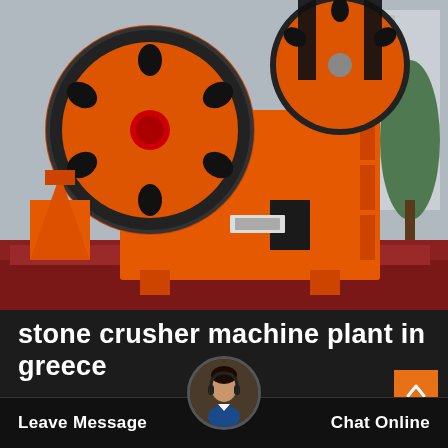[Figure (photo): Large orange industrial jaw crusher machine (stone crusher) on a flatbed, with two large black flywheel discs visible, set against a factory/outdoor background. A smaller orange cone crusher is visible in the background left.]
stone crusher machine plant in greece
Crusher Pe1000x1200 ... W Jaw Crusher HPC
Leave Message ... eters o Chat Online
pe100 130 stone machine plant ... the dilib...